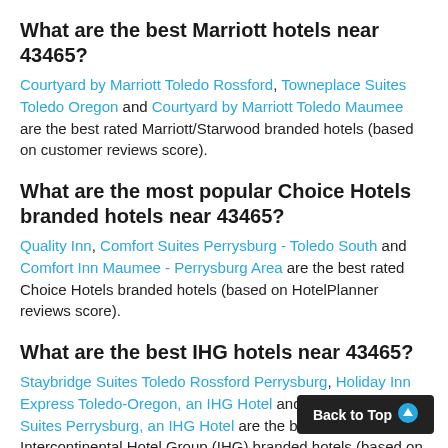What are the best Marriott hotels near 43465?
Courtyard by Marriott Toledo Rossford, Towneplace Suites Toledo Oregon and Courtyard by Marriott Toledo Maumee are the best rated Marriott/Starwood branded hotels (based on customer reviews score).
What are the most popular Choice Hotels branded hotels near 43465?
Quality Inn, Comfort Suites Perrysburg - Toledo South and Comfort Inn Maumee - Perrysburg Area are the best rated Choice Hotels branded hotels (based on HotelPlanner reviews score).
What are the best IHG hotels near 43465?
Staybridge Suites Toledo Rossford Perrysburg, Holiday Inn Express Toledo-Oregon, an IHG Hotel and Candlewood Suites Perrysburg, an IHG Hotel are the best rated Intercontinental Hotel Group (IHG) branded hotels (based on user reviews score).